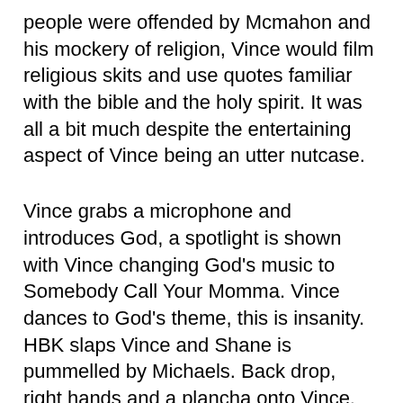people were offended by Mcmahon and his mockery of religion, Vince would film religious skits and use quotes familiar with the bible and the holy spirit. It was all a bit much despite the entertaining aspect of Vince being an utter nutcase.
Vince grabs a microphone and introduces God, a spotlight is shown with Vince changing God's music to Somebody Call Your Momma. Vince dances to God's theme, this is insanity. HBK slaps Vince and Shane is pummelled by Michaels. Back drop, right hands and a plancha onto Vince. Shane is clotheslined to the floor, plancha by Michaels. Shane and Michaels brawl to the stage, knees and lefts by Shane. Shane tries a piledriver, Michaels back drops Shane on the stage. HBK chops down an oncoming Vince, Shane is bounced off the stage. Michaels crossbodies himself and Vince off the stage through some equipment at the side of the stage. Michaels climbs up to the stage and is